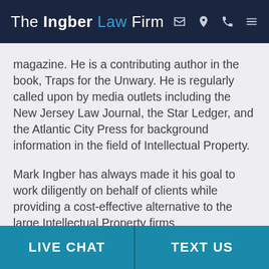The Ingber Law Firm
magazine. He is a contributing author in the book, Traps for the Unwary. He is regularly called upon by media outlets including the New Jersey Law Journal, the Star Ledger, and the Atlantic City Press for background information in the field of Intellectual Property.
Mark Ingber has always made it his goal to work diligently on behalf of clients while providing a cost-effective alternative to the large Intellectual Property firms.
LIVE CHAT | TEXT US